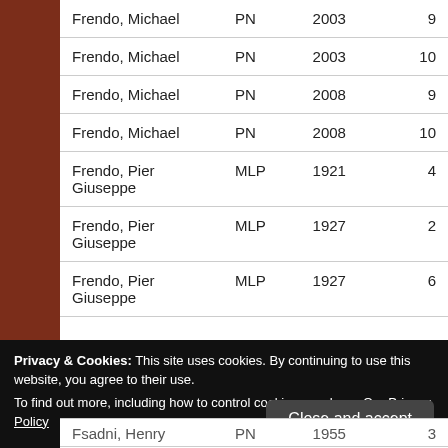| Frendo, Michael | PN | 2003 | 9 |
| Frendo, Michael | PN | 2003 | 10 |
| Frendo, Michael | PN | 2008 | 9 |
| Frendo, Michael | PN | 2008 | 10 |
| Frendo, Pier Giuseppe | MLP | 1921 | 4 |
| Frendo, Pier Giuseppe | MLP | 1927 | 2 |
| Frendo, Pier Giuseppe | MLP | 1927 | 6 |
| Fsadni, Henry | PN | 1955 | 3 |
Privacy & Cookies: This site uses cookies. By continuing to use this website, you agree to their use.
To find out more, including how to control cookies, see here: Our Privacy Policy